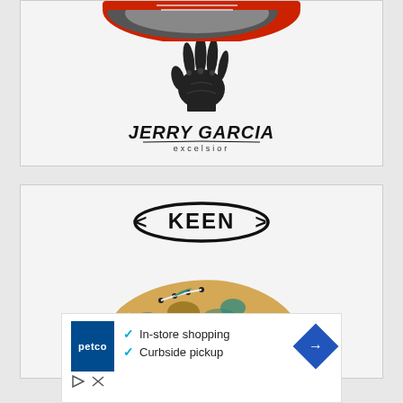[Figure (logo): Top product card showing a partial view of a red/gray shoe at top and Jerry Garcia 'Excelsior' brand logo with hand print stamp in the center]
[Figure (logo): KEEN brand product card showing the KEEN logo oval badge at top and a colorful patterned sneaker (floral/camo design) visible at the bottom]
[Figure (infographic): Petco advertisement banner: Petco logo on left, checkmarks for 'In-store shopping' and 'Curbside pickup', blue diamond arrow icon on right. Ad controls (play, close) at bottom left.]